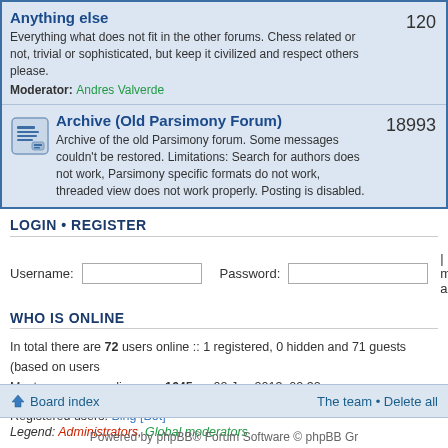| Forum | Posts |
| --- | --- |
| Anything else
Everything what does not fit in the other forums. Chess related or not, trivial or sophisticated, but keep it civilized and respect others please.
Moderator: Andres Valverde | 120 |
| Archive (Old Parsimony Forum)
Archive of the old Parsimony forum. Some messages couldn't be restored. Limitations: Search for authors does not work, Parsimony specific formats do not work, threaded view does not work properly. Posting is disabled. | 18993 |
LOGIN • REGISTER
Username: [input] Password: [input] | Log me on autom
WHO IS ONLINE
In total there are 72 users online :: 1 registered, 0 hidden and 71 guests (based on users
Most users ever online was 1645 on 02 Jan 2013, 02:32
Registered users: Bing [Bot]
Legend: Administrators, Global moderators
STATISTICS
Total posts 99156 • Total topics 23523 • Total members 1938 • Our newest member tyme
Board index    The team • Delete all
Powered by phpBB® Forum Software © phpBB Gr